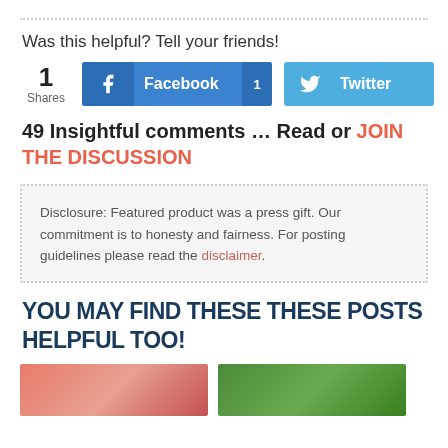Was this helpful? Tell your friends!
[Figure (infographic): Social share buttons: 1 Share count, Facebook button with count 1, Twitter button]
49 Insightful comments … Read or JOIN THE DISCUSSION
Disclosure: Featured product was a press gift. Our commitment is to honesty and fairness. For posting guidelines please read the disclaimer.
YOU MAY FIND THESE THESE POSTS HELPFUL TOO!
[Figure (photo): Two thumbnail images side by side at page bottom]